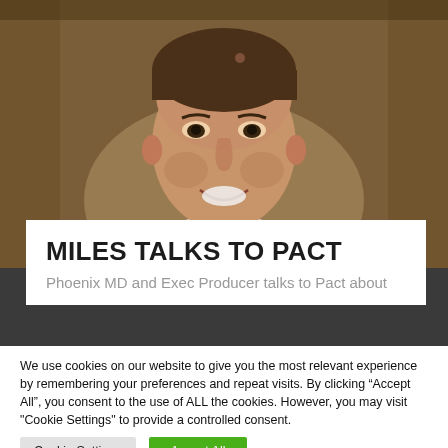[Figure (photo): Headshot of a middle-aged man smiling, wearing a white shirt, with a blurred brick wall background. Photo is cropped above a white card area.]
MILES TALKS TO PACT
Phoenix MD and Exec Producer talks to Pact about
We use cookies on our website to give you the most relevant experience by remembering your preferences and repeat visits. By clicking “Accept All”, you consent to the use of ALL the cookies. However, you may visit "Cookie Settings" to provide a controlled consent.